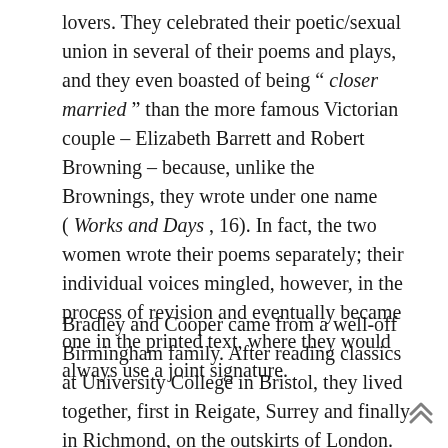lovers. They celebrated their poetic/sexual union in several of their poems and plays, and they even boasted of being " closer married " than the more famous Victorian couple – Elizabeth Barrett and Robert Browning – because, unlike the Brownings, they wrote under one name ( Works and Days , 16). In fact, the two women wrote their poems separately; their individual voices mingled, however, in the process of revision and eventually became one in the printed text, where they would always use a joint signature.
Bradley and Cooper came from a well-off Birmingham family. After reading classics at University College in Bristol, they lived together, first in Reigate, Surrey and finally in Richmond, on the outskirts of London. Bradley was the older but also the more glamorous, expansive, and,